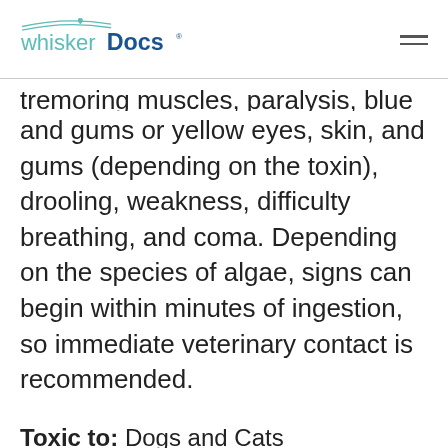WhiskerDocs
tremoring muscles, paralysis, blue skin and gums or yellow eyes, skin, and gums (depending on the toxin), drooling, weakness, difficulty breathing, and coma. Depending on the species of algae, signs can begin within minutes of ingestion, so immediate veterinary contact is recommended.
Toxic to: Dogs and Cats
Part of plant:
Cyanobacteria waterblooms, animals